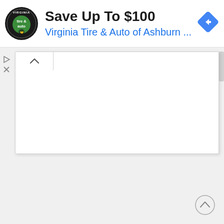[Figure (screenshot): Google Maps advertisement banner for Virginia Tire & Auto of Ashburn showing 'Save Up To $100' with the business logo and a blue navigation diamond icon. Below the ad is a partially visible map panel with a tab/dropdown control and a scroll-to-top button in the lower right.]